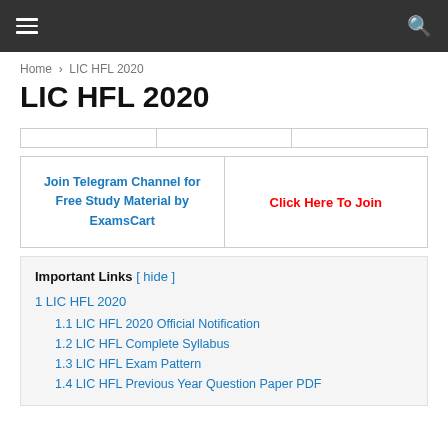≡  🔍
Home › LIC HFL 2020
LIC HFL 2020
|  |  |  |
| --- | --- | --- |
|  |
| Join Telegram Channel for Free Study Material by ExamsCart | Click Here To Join |
| --- | --- |
Important Links [ hide ]
1 LIC HFL 2020
1.1 LIC HFL 2020 Official Notification
1.2 LIC HFL Complete Syllabus
1.3 LIC HFL Exam Pattern
1.4 LIC HFL Previous Year Question Paper PDF